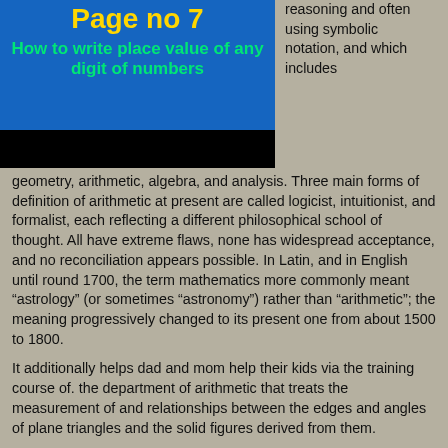Page no 7
How to write place value of any digit of numbers
reasoning and often using symbolic notation, and which includes geometry, arithmetic, algebra, and analysis. Three main forms of definition of arithmetic at present are called logicist, intuitionist, and formalist, each reflecting a different philosophical school of thought. All have extreme flaws, none has widespread acceptance, and no reconciliation appears possible. In Latin, and in English until round 1700, the term mathematics more commonly meant “astrology” (or sometimes “astronomy”) rather than “arithmetic”; the meaning progressively changed to its present one from about 1500 to 1800.
It additionally helps dad and mom help their kids via the training course of. the department of arithmetic that treats the measurement of and relationships between the edges and angles of plane triangles and the solid figures derived from them.
Mathematics
Practical arithmetic has been a human activity from as far back as written information exist. The research required to solve mathematical problems can take years and even centuries of